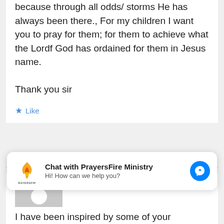because through all odds/ storms He has always been there., For my children I want you to pray for them; for them to achieve what the Lordf God has ordained for them in Jesus name.

Thank you sir
Like
[Figure (illustration): Default user avatar placeholder — grey square with white silhouette of a person]
Chat with PrayersFire Ministry
Hi! How can we help you?
I have been inspired by some of your